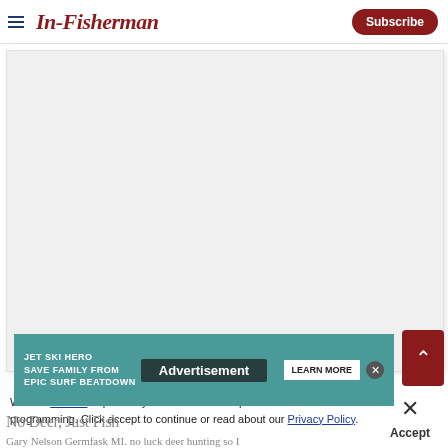In-Fisherman | Subscribe
[Figure (photo): Large blank/white image placeholder area for an article photo]
[Figure (screenshot): Advertisement banner: JET SKI HERO SAVE FAMILY FROM EPIC SURF BEATDOWN with LEARN MORE button and Advertisement overlay label]
We use cookies to provide you with the best experience in Outdoors programming. Click accept to continue or read about our Privacy Policy.
No Deer, Just Fish
Gary Nelson Germfask MI. no luck deer hunting so I